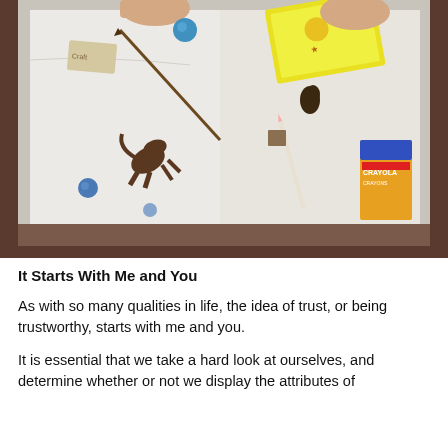[Figure (photo): A photograph taken from above showing a white cloth or lab coat laid flat, with a small brown animal figure (possibly a toy cat or animal) in the center-left area, blue round objects (marbles or balls), a stick or pencil, a pencil/pen, a small box item, a box of Crayola crayons on the right side, and what appears to be a yellow book or card held by two hands at the top. The background appears dark reddish-brown below the cloth.]
It Starts With Me and You
As with so many qualities in life, the idea of trust, or being trustworthy, starts with me and you.
It is essential that we take a hard look at ourselves, and determine whether or not we display the attributes of